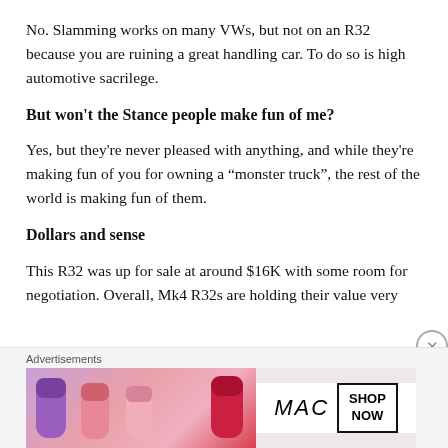No. Slamming works on many VWs, but not on an R32 because you are ruining a great handling car. To do so is high automotive sacrilege.
But won't the Stance people make fun of me?
Yes, but they're never pleased with anything, and while they're making fun of you for owning a “monster truck”, the rest of the world is making fun of them.
Dollars and sense
This R32 was up for sale at around $16K with some room for negotiation. Overall, Mk4 R32s are holding their value very
[Figure (other): MAC cosmetics advertisement banner showing lipsticks in purple, pink and red colors with MAC logo and SHOP NOW button]
Advertisements